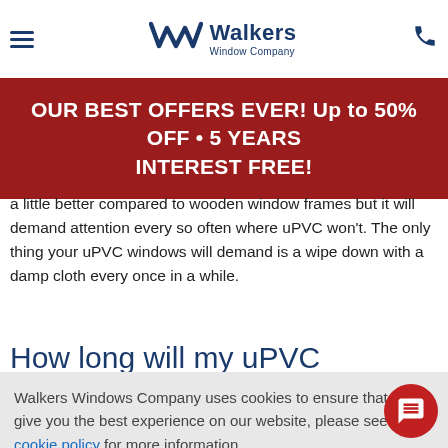Another great feature of uPVC is that it is incredibly low maintenance – and [who has time to tend to their windows through life's busy schedule? Where
[Figure (logo): Walkers Window Company logo with stylized W icon and hamburger menu and phone icon]
OUR BEST OFFERS EVER! Up to 50% OFF • 5 YEARS INTEREST FREE!
a little better compared to wooden window frames but it will demand attention every so often where uPVC won't. The only thing your uPVC windows will demand is a wipe down with a damp cloth every once in a while.
How long will my uPVC windows
Walkers Windows Company uses cookies to ensure that we give you the best experience on our website, please see our cookie policy for more information.